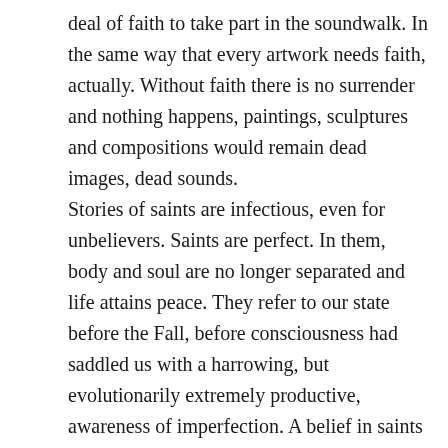deal of faith to take part in the soundwalk. In the same way that every artwork needs faith, actually. Without faith there is no surrender and nothing happens, paintings, sculptures and compositions would remain dead images, dead sounds. Stories of saints are infectious, even for unbelievers. Saints are perfect. In them, body and soul are no longer separated and life attains peace. They refer to our state before the Fall, before consciousness had saddled us with a harrowing, but evolutionarily extremely productive, awareness of imperfection. A belief in saints was bestowed along with our consciousness. It is a valve through which to let off steam, a window in the narrow cell of our dialectic thinking. The miracles of the saints are therefore always a reversal of how we usually experience and explain reality. Their dead bodies don't putrefy but smell of jasmine, they can cure the incurable,